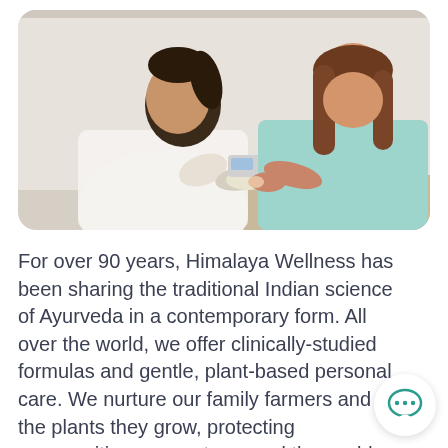[Figure (photo): A healthcare professional (woman in white lab coat and gloves) performing a blood glucose test on a teenage girl wearing a light blue t-shirt. The professional holds a glucometer device near the girl's finger. Both are seated, with a light/white background.]
For over 90 years, Himalaya Wellness has been sharing the traditional Indian science of Ayurveda in a contemporary form. All over the world, we offer clinically-studied formulas and gentle, plant-based personal care. We nurture our family farmers and the plants they grow, protecting communities, ecosystems and the world we live in. Our mission today is the same as it was in 19... Wellness in every home. Happiness in every heart.